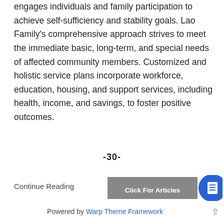engages individuals and family participation to achieve self-sufficiency and stability goals. Lao Family's comprehensive approach strives to meet the immediate basic, long-term, and special needs of affected community members. Customized and holistic service plans incorporate workforce, education, housing, and support services, including health, income, and savings, to foster positive outcomes.
-30-
Continue Reading
[Figure (other): A gray button labeled 'Click For Articles' with a blue circle icon to the right containing a document/list icon]
Powered by Warp Theme Framework